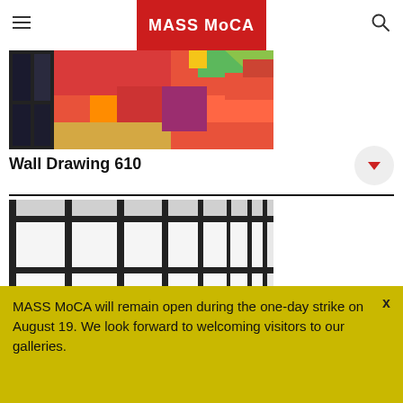MASS MoCA
[Figure (photo): Colorful wall drawing artwork with bold geometric shapes in red, orange, yellow, green, and purple tones — Wall Drawing 610 at MASS MoCA]
Wall Drawing 610
[Figure (photo): Black and white grid wall installation — large rectangular panels arranged in a grid pattern with thick black borders on a white wall]
MASS MoCA will remain open during the one-day strike on August 19. We look forward to welcoming visitors to our galleries.